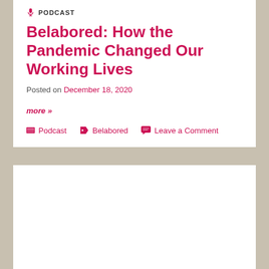PODCAST
Belabored: How the Pandemic Changed Our Working Lives
Posted on December 18, 2020
more »
Podcast   Belabored   Leave a Comment